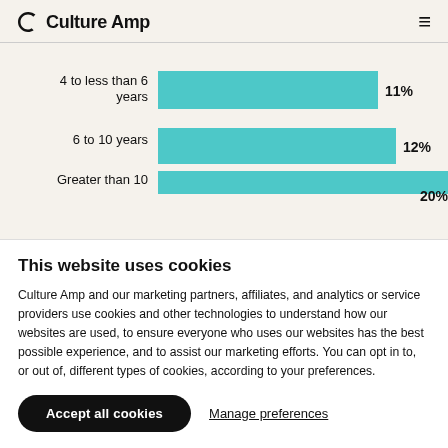Culture Amp
[Figure (bar-chart): Tenure bar chart (partial)]
This website uses cookies
Culture Amp and our marketing partners, affiliates, and analytics or service providers use cookies and other technologies to understand how our websites are used, to ensure everyone who uses our websites has the best possible experience, and to assist our marketing efforts. You can opt in to, or out of, different types of cookies, according to your preferences.
Accept all cookies  Manage preferences